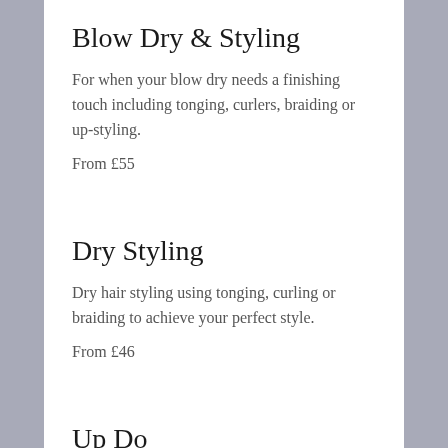Blow Dry & Styling
For when your blow dry needs a finishing touch including tonging, curlers, braiding or up-styling.
From £55
Dry Styling
Dry hair styling using tonging, curling or braiding to achieve your perfect style.
From £46
Up Do